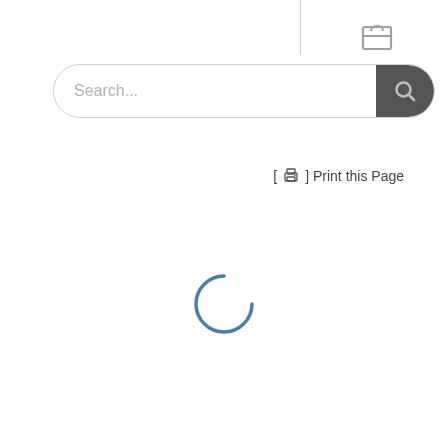[Figure (screenshot): Cart/shopping bag icon in gray at top right, with a vertical divider line]
[Figure (screenshot): Search bar with placeholder text 'Search...' and a dark rounded search button with magnifying glass icon]
[ ] Print this Page
[Figure (other): Blue circular loading spinner (approximately 3/4 circle arc) centered on the page]